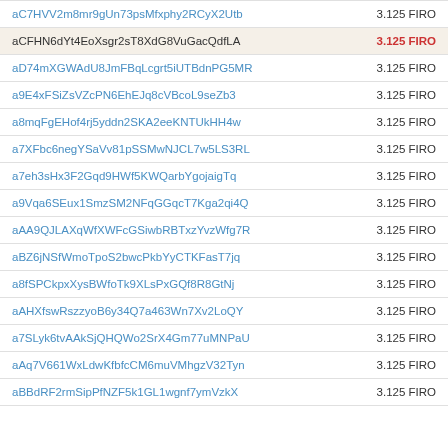| Address | Amount |
| --- | --- |
| aC7HVV2m8mr9gUn73psMfxphy2RCyX2Utb | 3.125 FIRO |
| aCFHN6dYt4EoXsgr2sT8XdG8VuGacQdfLA | 3.125 FIRO |
| aD74mXGWAdU8JmFBqLcgrt5iUTBdnPG5MR | 3.125 FIRO |
| a9E4xFSiZsVZcPN6EhEJq8cVBcoL9seZb3 | 3.125 FIRO |
| a8mqFgEHof4rj5yddn2SKA2eeKNTUkHH4w | 3.125 FIRO |
| a7XFbc6negYSaVv81pSSMwNJCL7w5LS3RL | 3.125 FIRO |
| a7eh3sHx3F2Gqd9HWf5KWQarbYgojaigTq | 3.125 FIRO |
| a9Vqa6SEux1SmzSM2NFqGGqcT7Kga2qi4Q | 3.125 FIRO |
| aAA9QJLAXqWfXWFcGSiwbRBTxzYvzWfg7R | 3.125 FIRO |
| aBZ6jNSfWmoTpoS2bwcPkbYyCTKFasT7jq | 3.125 FIRO |
| a8fSPCkpxXysBWfoTk9XLsPxGQf8R8GtNj | 3.125 FIRO |
| aAHXfswRszzyoB6y34Q7a463Wn7Xv2LoQY | 3.125 FIRO |
| a7SLyk6tvAAkSjQHQWo2SrX4Gm77uMNPaU | 3.125 FIRO |
| aAq7V661WxLdwKfbfcCM6muVMhgzV32Tyn | 3.125 FIRO |
| aBBdRF2rmSipPfNZF5k1GL1wgnf7ymVzkX | 3.125 FIRO |